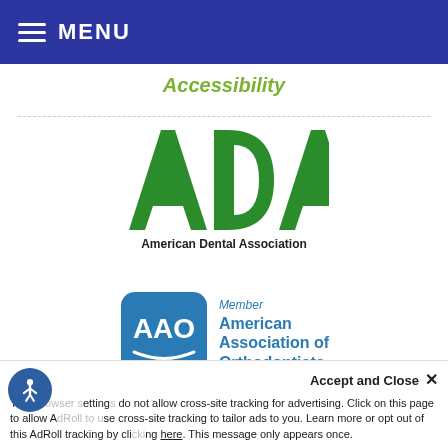MENU
Accessibility
[Figure (logo): ADA American Dental Association logo — green stylized letters ADA above the text 'American Dental Association']
[Figure (logo): AAO Member American Association of Orthodontists logo — blue rounded square with AAO letters and smile arc, beside blue text 'Member American Association of Orthodontists']
[Figure (logo): Roth Williams International RW3 logo — globe with orange continents and blue grid, RW3 text in center, 'Roth Williams International' text above]
Your browser settings do not allow cross-site tracking for advertising. Click on this page to allow AdRoll to use cross-site tracking to tailor ads to you. Learn more or opt out of this AdRoll tracking by clicking here. This message only appears once.